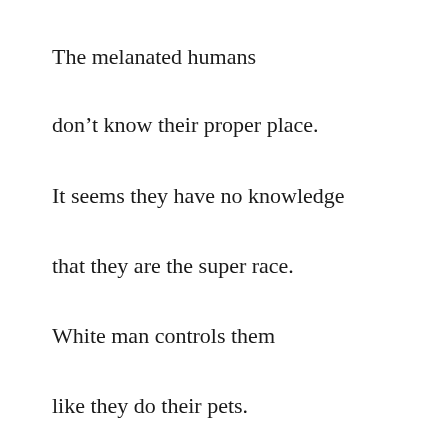The melanated humans
don’t know their proper place.
It seems they have no knowledge
that they are the super race.
White man controls them
like they do their pets.